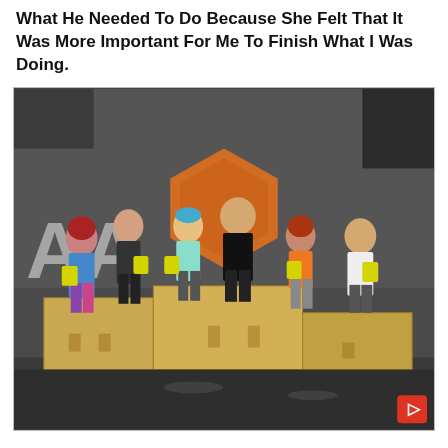What He Needed To Do Because She Felt That It Was More Important For Me To Finish What I Was Doing.
[Figure (photo): Group of six athletes (3 male, 3 female) standing on a wooden podium/award platform holding yellow bags, smiling. Background shows a gym with a large orange hexagonal logo and the letters 'AA' on the wall. A small red button with an arrow icon is visible in the bottom-right corner of the image.]